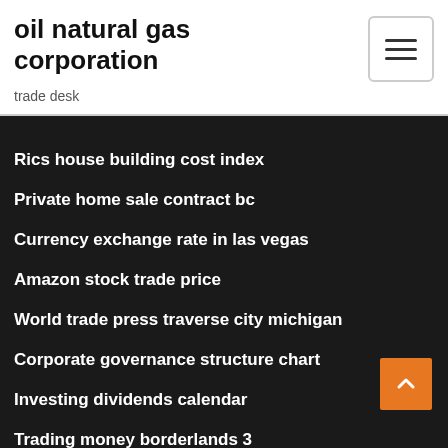oil natural gas corporation
trade desk
Rics house building cost index
Private home sale contract bc
Currency exchange rate in las vegas
Amazon stock trade price
World trade press traverse city michigan
Corporate governance structure chart
Investing dividends calendar
Trading money borderlands 3
Pharmaceuticals stocks
Hedging index exchange traded funds